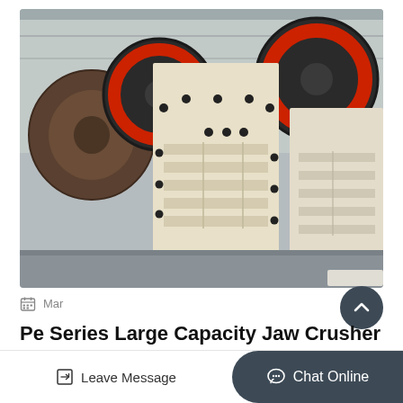[Figure (photo): Industrial jaw crusher machine in a factory/warehouse setting. Large cream/beige colored heavy machinery with black bolts and red flywheel visible. Multiple units shown on a factory floor with high ceilings.]
Mar
Pe Series Large Capacity Jaw Crusher
Leave Message
Chat Online